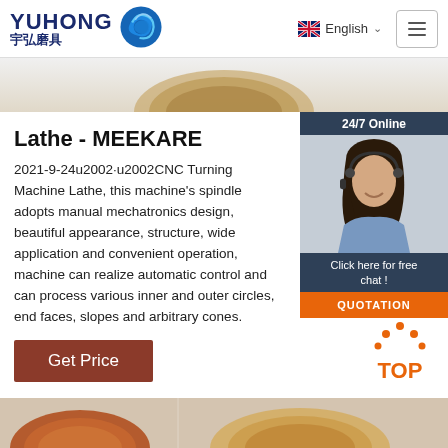YUHONG 宇弘磨具 | English
[Figure (photo): Partial view of abrasive/grinding wheel product at top of page]
Lathe - MEEKARE
2021-9-24u2002·u2002CNC Turning Machine Lathe, this machine's spindle adopts manual mechatronics design, beautiful appearance, structure, wide application and convenient operation, machine can realize automatic control and can process various inner and outer circles, end faces, slopes and arbitrary cones.
[Figure (photo): 24/7 Online chat widget with female customer service representative wearing headset]
Click here for free chat !
QUOTATION
Get Price
[Figure (illustration): TOP button with orange dot decorative icon]
[Figure (photo): Abrasive flap disc product images at bottom of page]